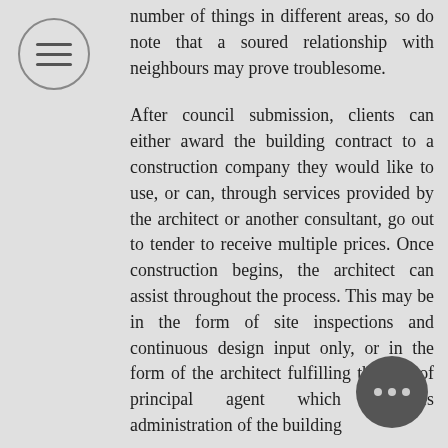[Figure (other): Hamburger menu icon inside a circle, top-left corner]
number of things in different areas, so do note that a soured relationship with neighbours may prove troublesome.

After council submission, clients can either award the building contract to a construction company they would like to use, or can, through services provided by the architect or another consultant, go out to tender to receive multiple prices. Once construction begins, the architect can assist throughout the process. This may be in the form of site inspections and continuous design input only, or in the form of the architect fulfilling the role of principal agent which involves administration of the building
[Figure (other): Three-dot more options icon inside a dark circle, bottom-right corner]